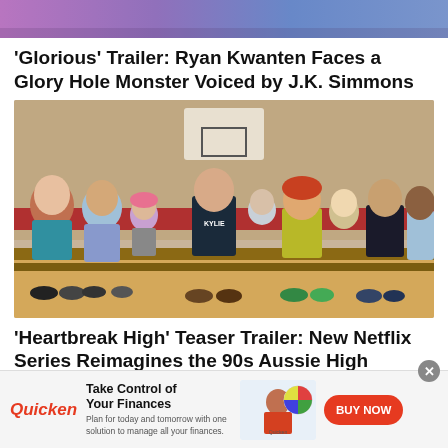[Figure (photo): Partial top image, colorful blurred background]
'Glorious' Trailer: Ryan Kwanten Faces a Glory Hole Monster Voiced by J.K. Simmons
[Figure (photo): Group of teenagers sitting on bleachers in a gymnasium, wearing casual clothes]
'Heartbreak High' Teaser Trailer: New Netflix Series Reimagines the 90s Aussie High School Drama
[Figure (infographic): Quicken advertisement banner: Take Control of Your Finances. Plan for today and tomorrow with one solution to manage all your finances. BUY NOW button.]